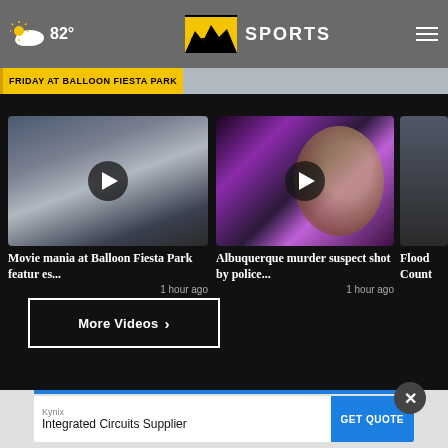82° KRQE SPORTS
FRIDAY AT BALLOON FIESTA PARK
[Figure (screenshot): Video thumbnail: Movie mania at Balloon Fiesta Park with play button overlay]
Movie mania at Balloon Fiesta Park featur es...
1 hour ago
[Figure (screenshot): Video thumbnail: Albuquerque murder suspect shot by police, man's face with police lights in background]
Albuquerque murder suspect shot by police...
1 hour ago
[Figure (screenshot): Partial video thumbnail: Flood County (cropped)]
Flood Count
More Videos ›
× Kynix
Integrated Circuits Supplier  GET QUOTE